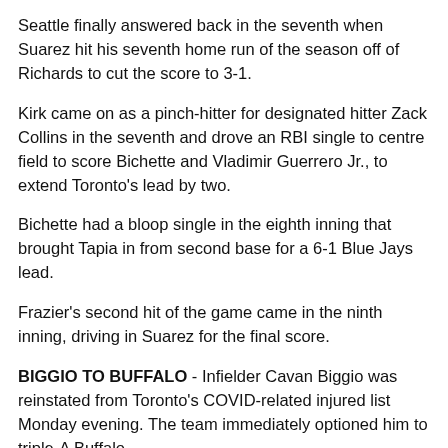Seattle finally answered back in the seventh when Suarez hit his seventh home run of the season off of Richards to cut the score to 3-1.
Kirk came on as a pinch-hitter for designated hitter Zack Collins in the seventh and drove an RBI single to centre field to score Bichette and Vladimir Guerrero Jr., to extend Toronto's lead by two.
Bichette had a bloop single in the eighth inning that brought Tapia in from second base for a 6-1 Blue Jays lead.
Frazier's second hit of the game came in the ninth inning, driving in Suarez for the final score.
BIGGIO TO BUFFALO - Infielder Cavan Biggio was reinstated from Toronto's COVID-related injured list Monday evening. The team immediately optioned him to triple-A Buffalo.
MAYZA ON THE IL - Left-handed reliever Tim